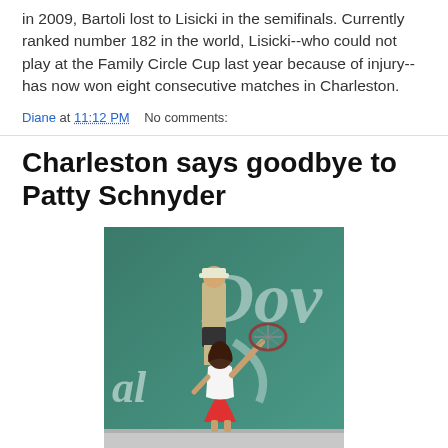in 2009, Bartoli lost to Lisicki in the semifinals. Currently ranked number 182 in the world, Lisicki--who could not play at the Family Circle Cup last year because of injury--has now won eight consecutive matches in Charleston.
Diane at 11:12 PM    No comments:
Charleston says goodbye to Patty Schnyder
[Figure (photo): Tennis player (woman in white top and red skirt) swinging a racket on a tennis court, with a man in a cap standing in the background. A teal background board shows the Dove logo branding.]